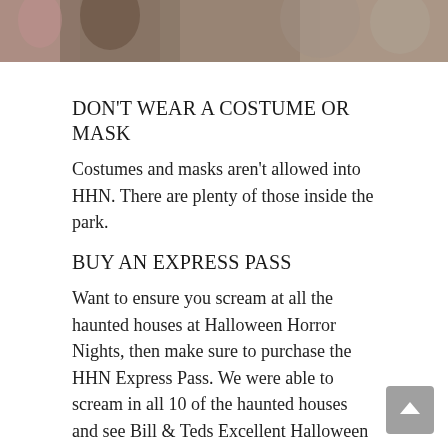[Figure (photo): Partial photo strip at top of page showing people in Halloween costumes or masks, cropped to show upper portion only]
DON'T WEAR A COSTUME OR MASK
Costumes and masks aren't allowed into HHN. There are plenty of those inside the park.
BUY AN EXPRESS PASS
Want to ensure you scream at all the haunted houses at Halloween Horror Nights, then make sure to purchase the HHN Express Pass. We were able to scream in all 10 of the haunted houses and see Bill & Teds Excellent Halloween Adventure live show within 4 hours of